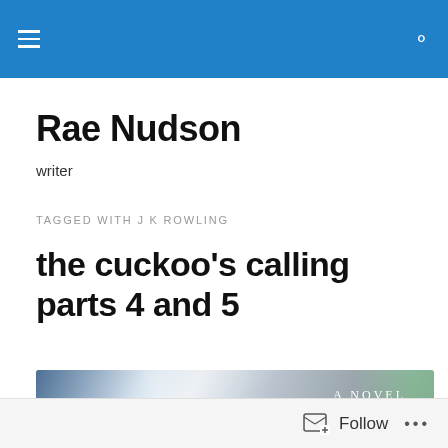Rae Nudson — site navigation header with menu and search icons
Rae Nudson
writer
TAGGED WITH J K ROWLING
the cuckoo's calling parts 4 and 5
[Figure (photo): Book cover image for 'The Cuckoo's Calling' — a novel, showing stylized cursive lettering and misty figures with bright light, labeled 'A NOVEL' in the upper right area]
Follow  •••